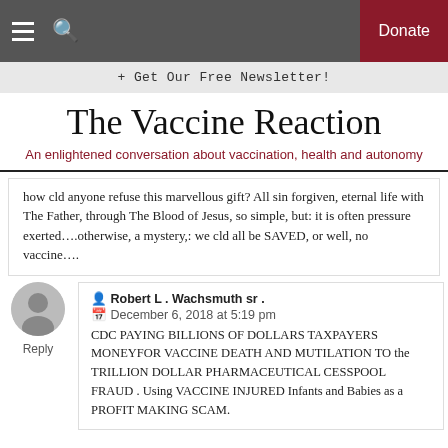☰  🔍   Donate
+ Get Our Free Newsletter!
The Vaccine Reaction
An enlightened conversation about vaccination, health and autonomy
how cld anyone refuse this marvellous gift? All sin forgiven, eternal life with The Father, through The Blood of Jesus, so simple, but: it is often pressure exerted….otherwise, a mystery,: we cld all be SAVED, or well, no vaccine….
Robert L . Wachsmuth sr .
December 6, 2018 at 5:19 pm

CDC PAYING BILLIONS OF DOLLARS TAXPAYERS MONEYFOR VACCINE DEATH AND MUTILATION TO the TRILLION DOLLAR PHARMACEUTICAL CESSPOOL FRAUD . Using VACCINE INJURED Infants and Babies as a PROFIT MAKING SCAM.